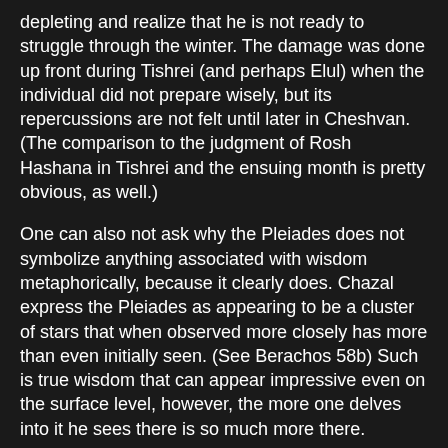depleting and realize that he is not ready to struggle through the winter. The damage was done up front during Tishrei (and perhaps Elul) when the individual did not prepare wisely, but its repercussions are not felt until later in Cheshvan.(The comparison to the judgment of Rosh Hashana in Tishrei and the ensuing month is pretty obvious, as well.)
One can also not ask why the Pleiades does not symbolize anything associated with wisdom metaphorically, because it clearly does. Chazal express the Pleiades as appearing to be a cluster of stars that when observed more closely has more than even initially seen. (See Berachos 58b) Such is true wisdom that can appear impressive even on the surface level, however, the more one delves into it he sees there is so much more there.
Ari S. at 11:13 PM
No comments: